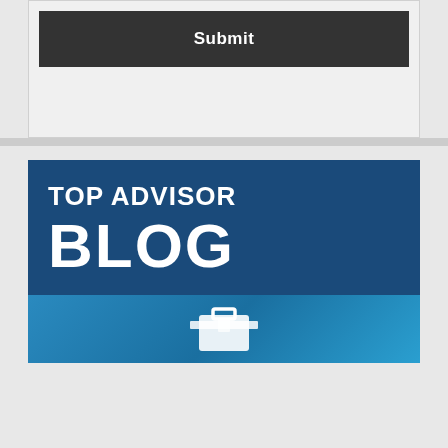[Figure (screenshot): A dark gray Submit button inside a light gray form container area]
[Figure (logo): Top Advisor Blog banner logo with dark blue background showing 'TOP ADVISOR' in medium white bold text and 'BLOG' in very large white bold text, with a light blue gradient section at the bottom containing a white briefcase icon]